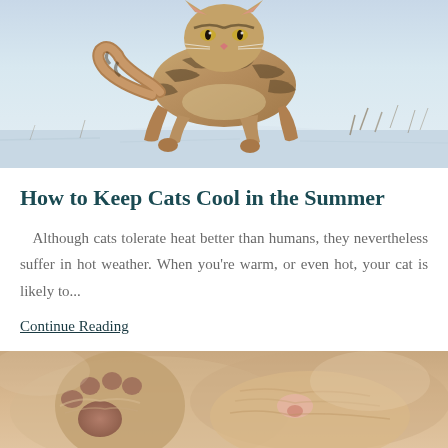[Figure (photo): A tabby cat walking on snow, viewed from the side/front, with striped fur and raised paw]
How to Keep Cats Cool in the Summer
Although cats tolerate heat better than humans, they nevertheless suffer in hot weather. When you're warm, or even hot, your cat is likely to...
Continue Reading
[Figure (photo): Close-up of a sleeping cat, showing paws and face from below, soft fur visible]